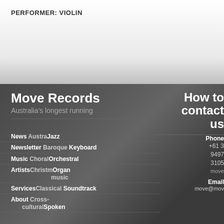PERFORMER: VIOLIN
Move Records
Australia's longest running
How to contact us
News   Australia   Jazz
Newsletter   Baroque   Keyboard
Music   Choral   Orchestral
Artists   Christmas   Organ music
Services   Classical   Soundtrack
About   Cross-cultural   Spoken
Phone
+61 3
9497
3105
move
Email
move@mov